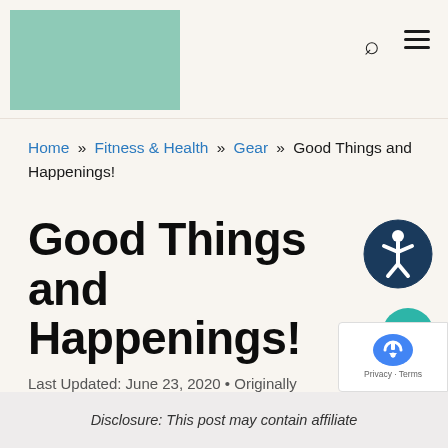[Figure (logo): Teal/green rectangular logo block in top-left header]
Navigation header with search and menu icons
Home » Fitness & Health » Gear » Good Things and Happenings!
Good Things and Happenings!
Last Updated: June 23, 2020 • Originally published on April 8, 2013 by Sarah Jane Parker
Disclosure: This post may contain affiliate